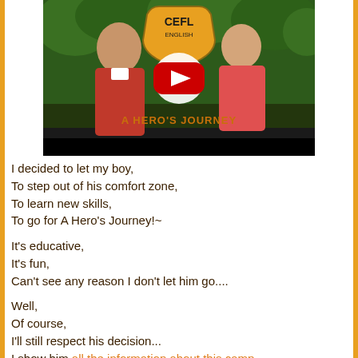[Figure (screenshot): YouTube video thumbnail showing two men in red polo shirts standing outdoors near a sign reading 'CEFL English' with subtitle 'A HERO'S JOURNEY'. A YouTube play button overlay is visible in the center.]
I decided to let my boy,
To step out of his comfort zone,
To learn new skills,
To go for A Hero's Journey!~

It's educative,
It's fun,
Can't see any reason I don't let him go....

Well,
Of course,
I'll still respect his decision...
I show him all the information about this camp...